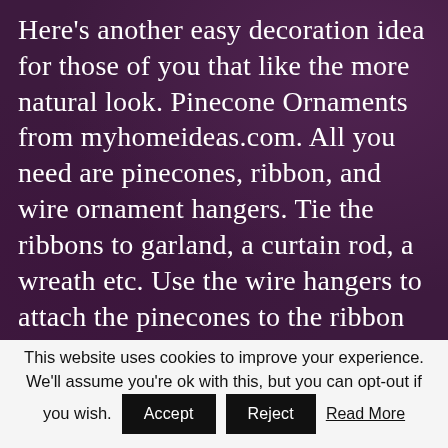Here's another easy decoration idea for those of you that like the more natural look. Pinecone Ornaments from myhomeideas.com. All you need are pinecones, ribbon, and wire ornament hangers. Tie the ribbons to garland, a curtain rod, a wreath etc. Use the wire hangers to attach the pinecones to the ribbon and you're done!
This website uses cookies to improve your experience. We'll assume you're ok with this, but you can opt-out if you wish. Accept Reject Read More